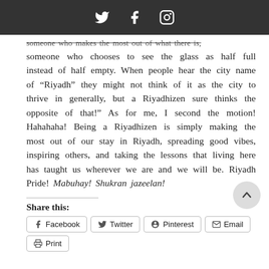[Twitter] [Facebook] [Instagram] social icons
someone who makes the most out of what there is, someone who chooses to see the glass as half full instead of half empty. When people hear the city name of “Riyadh” they might not think of it as the city to thrive in generally, but a Riyadhizen sure thinks the opposite of that!” As for me, I second the motion! Hahahaha! Being a Riyadhizen is simply making the most out of our stay in Riyadh, spreading good vibes, inspiring others, and taking the lessons that living here has taught us wherever we are and we will be. Riyadh Pride! Mabuhay! Shukran jazeelan!
Share this:
Facebook  Twitter  Pinterest  Email  Print